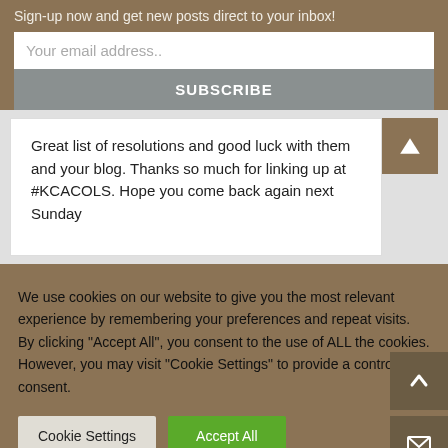Sign-up now and get new posts direct to your inbox!
Your email address..
SUBSCRIBE
Great list of resolutions and good luck with them and your blog. Thanks so much for linking up at #KCACOLS. Hope you come back again next Sunday
We use cookies on our website to give you the most relevant experience by remembering your preferences and repeat visits. By clicking "Accept All", you consent to the use of ALL the cookies. However, you may visit "Cookie Settings" to provide a controlled consent.
Cookie Settings
Accept All